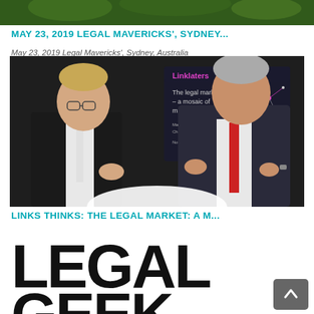[Figure (photo): Cropped image at top of page showing green foliage background]
MAY 23, 2019 LEGAL MAVERICKS', SYDNEY...
May 23, 2019 Legal Mavericks', Sydney, Australia
[Figure (photo): Two men in suits standing in front of a Linklaters presentation slide reading 'The legal market – a mosaic of many tiles' with a network graphic on a dark background]
LINKS THINKS: THE LEGAL MARKET: A M...
[Figure (logo): LEGAL GEEK logo in large bold black text, partially visible]